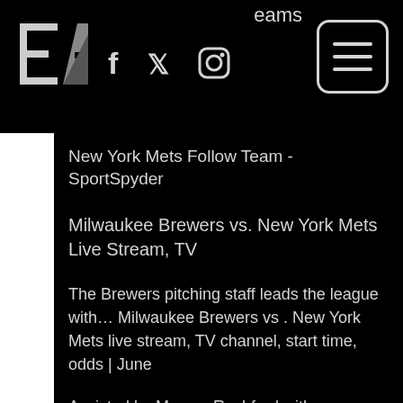EA logo with social media icons (Facebook, Twitter, Instagram) and hamburger menu. Partial text: eams
New York Mets Follow Team - SportSpyder
Milwaukee Brewers vs. New York Mets Live Stream, TV
The Brewers pitching staff leads the league with… Milwaukee Brewers vs . New York Mets live stream, TV channel, start time, odds | June
Assisted by Marcus Rashford with a cross. Posted at 76' Attempt blocked. Jesse Lingard (Manchester United) right footed shot from outside the box is blocked. Assisted by Harry Maguire. SubstitutionPosted at 73'